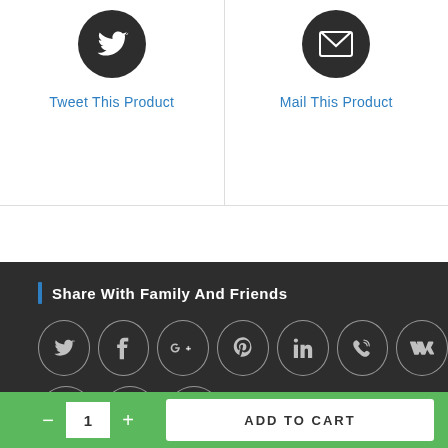[Figure (screenshot): Tweet This Product button with dark circular Twitter bird icon and blue text label]
[Figure (screenshot): Mail This Product button with dark circular envelope icon and blue text label]
Share With Family And Friends
[Figure (infographic): Row of social media sharing icons in circular outlines on dark background: Twitter, Facebook, Google+, Pinterest, LinkedIn, Viber, VK. Second row: Reddit, Tumblr, a sharing icon.]
[Figure (screenshot): Bottom bar with quantity selector (minus, 1, plus) and ADD TO CART button on green background]